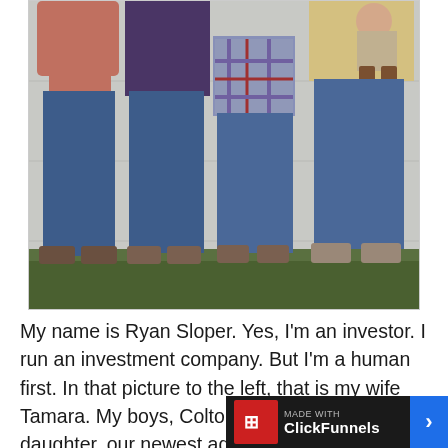[Figure (photo): Family photo showing four people standing against a white wall with grass in the foreground. One person on the left is holding a child upside down. The group includes two adults and two children.]
My name is Ryan Sloper. Yes, I'm an investor. I run an investment company. But I'm a human first. In that picture to the left, that is my wife Tamara. My boys, Colton and Chase, and my daughter, our newest addition, Ella. Many fathers want to teach their kids about what inte...